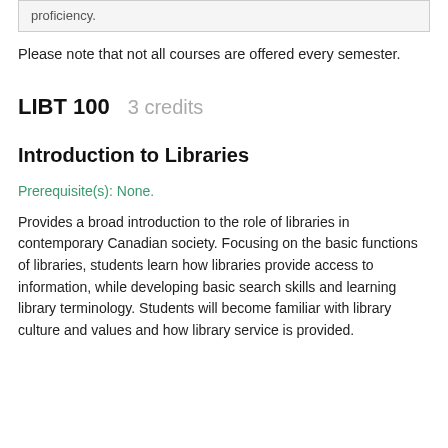proficiency.
Please note that not all courses are offered every semester.
LIBT 100   3 credits
Introduction to Libraries
Prerequisite(s): None.
Provides a broad introduction to the role of libraries in contemporary Canadian society. Focusing on the basic functions of libraries, students learn how libraries provide access to information, while developing basic search skills and learning library terminology. Students will become familiar with library culture and values and how library service is provided.